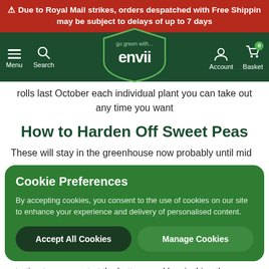⚠ Due to Royal Mail strikes, orders despatched with Free Shipping may be subject to delays of up to 7 days
[Figure (screenshot): Envii website navigation bar with menu, search, logo (go green with... envii), account, and basket icons on dark green background]
rolls last October each individual plant you can take out any time you want
How to Harden Off Sweet Peas
These will stay in the greenhouse now probably until mid
Cookie Preferences
By accepting cookies, you consent to the use of cookies on our site to enhance your experience and delivery of personalised content.
Accept All Cookies   Manage Cookies
starting to come out at the bottom, and by pinching them